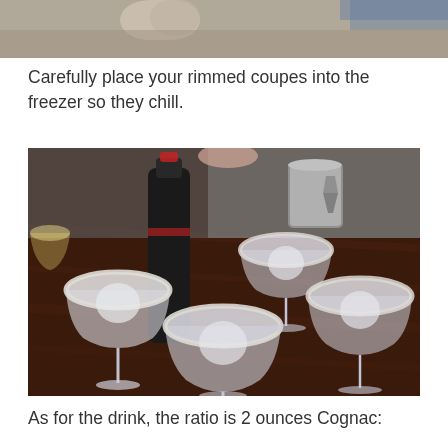[Figure (photo): Top portion of a photo showing a person's hand/head in a kitchen setting, cropped at the top of the page]
Carefully place your rimmed coupes into the freezer so they chill.
[Figure (photo): Four frosted coupe glasses with sugared rims arranged on a wooden bar counter, with a dark wine bottle and cocktail shaker in the background]
As for the drink, the ratio is 2 ounces Cognac: